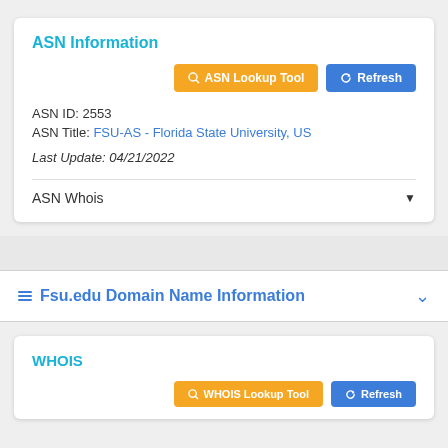ASN Information
ASN Lookup Tool
Refresh
ASN ID: 2553
ASN Title: FSU-AS - Florida State University, US
Last Update: 04/21/2022
ASN Whois
Fsu.edu Domain Name Information
WHOIS
WHOIS Lookup Tool
Refresh